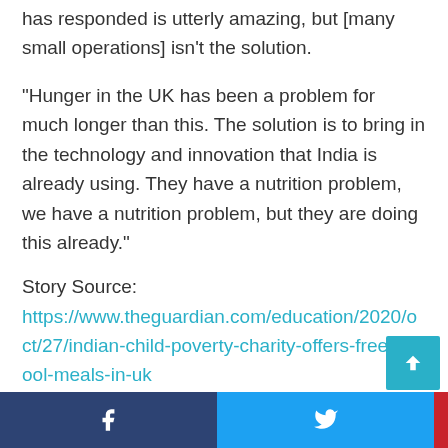has responded is utterly amazing, but [many small operations] isn't the solution.
“Hunger in the UK has been a problem for much longer than this. The solution is to bring in the technology and innovation that India is already using. They have a nutrition problem, we have a nutrition problem, but they are doing this already.”
Story Source:
https://www.theguardian.com/education/2020/oct/27/indian-child-poverty-charity-offers-free-school-meals-in-uk
[Figure (infographic): Social sharing bar with Facebook, Twitter, Pinterest, and email icons at the bottom of the page, plus a teal scroll-to-top button]